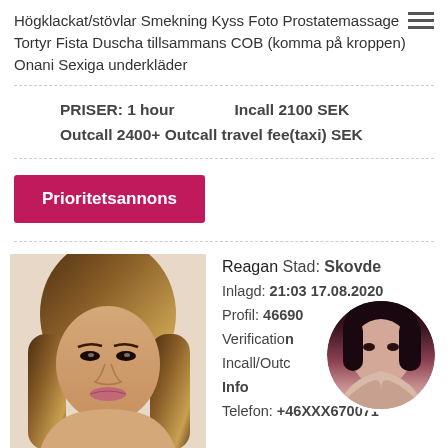Högklackat/stövlar Smekning Kyss Foto Prostatemassage Tortyr Fista Duscha tillsammans COB (komma på kroppen) Onani Sexiga underkläder
PRISER: 1 hour   Incall 2100 SEK
Outcall 2400+ Outcall travel fee(taxi) SEK
Prioritetsannons
[Figure (photo): Photo of a young Asian woman with long highlighted brown hair, wearing makeup, portrait style]
Reagan Stad: Skovde
Inlagd: 21:03 17.08.2020
Profil: 46690...
Verification...
Incall/Outc...
Info
Telefon: +46XXX670071
[Figure (photo): Circular cropped photo of a dark-haired woman, partially obscuring the listing info text]